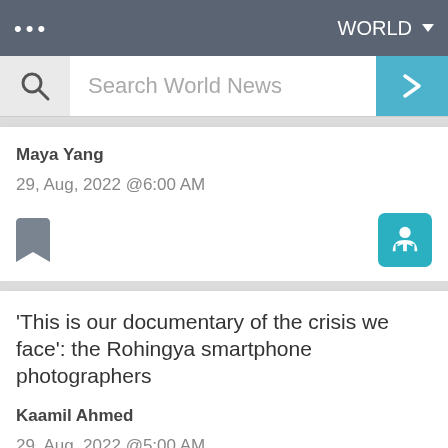... WORLD
Search World News
Maya Yang
29, Aug, 2022 @6:00 AM
'This is our documentary of the crisis we face': the Rohingya smartphone photographers
Kaamil Ahmed
29, Aug, 2022 @5:00 AM